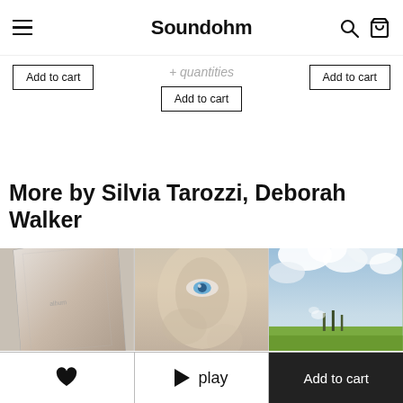Soundohm
Add to cart
Add to cart
Add to cart
More by Silvia Tarozzi, Deborah Walker
[Figure (photo): Album cover - angled physical record sleeve with ethereal artwork]
[Figure (photo): Album cover - portrait with blue eye visible through layered imagery, text at top reads Silvia Tarozzi Stranieras]
[Figure (photo): Album cover - landscape photo with green field, clouds, and text overlay at bottom]
play
Add to cart